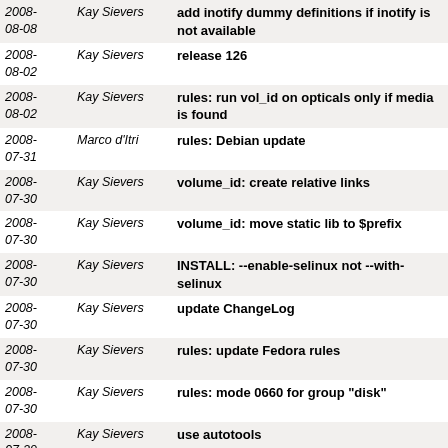| Date | Author | Message |
| --- | --- | --- |
| 2008-08-08 | Kay Sievers | add inotify dummy definitions if inotify is not available |
| 2008-08-02 | Kay Sievers | release 126 |
| 2008-08-02 | Kay Sievers | rules: run vol_id on opticals only if media is found |
| 2008-07-31 | Marco d'Itri | rules: Debian update |
| 2008-07-30 | Kay Sievers | volume_id: create relative links |
| 2008-07-30 | Kay Sievers | volume_id: move static lib to $prefix |
| 2008-07-30 | Kay Sievers | INSTALL: --enable-selinux not --with-selinux |
| 2008-07-30 | Kay Sievers | update ChangeLog |
| 2008-07-30 | Kay Sievers | rules: update Fedora rules |
| 2008-07-30 | Kay Sievers | rules: mode 0660 for group "disk" |
| 2008-07-29 | Kay Sievers | use autotools |
| 2008-07-29 | Kay Sievers | delete all Makefiles and move udev source to udev/ |
| 2008-07-22 | Thomas Koeller | use proper directory lib/lib64 for libvolume_id |
| 2008- | Kay Sievers | release 125 |